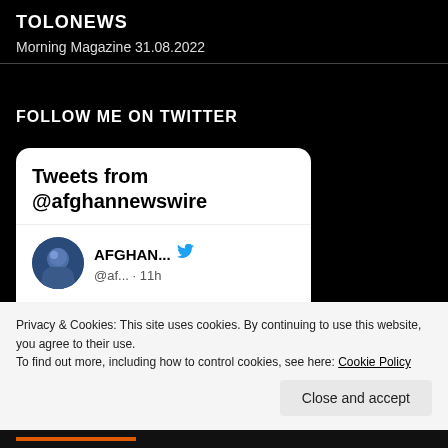TOLONEWS
Morning Magazine 31.08.2022
FOLLOW ME ON TWITTER
[Figure (screenshot): Twitter widget card showing 'Tweets from @afghannewswire' with a user named 'AFGHAN...' @af... posted 11h ago, with avatar image and text 'Afghanistan International-']
Privacy & Cookies: This site uses cookies. By continuing to use this website, you agree to their use.
To find out more, including how to control cookies, see here: Cookie Policy
Close and accept